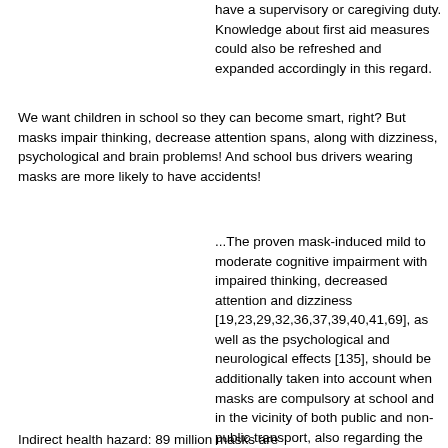have a supervisory or caregiving duty. Knowledge about first aid measures could also be refreshed and expanded accordingly in this regard.
We want children in school so they can become smart, right? But masks impair thinking, decrease attention spans, along with dizziness, psychological and brain problems! And school bus drivers wearing masks are more likely to have accidents!
...The proven mask-induced mild to moderate cognitive impairment with impaired thinking, decreased attention and dizziness [19,23,29,32,36,37,39,40,41,69], as well as the psychological and neurological effects [135], should be additionally taken into account when masks are compulsory at school and in the vicinity of both public and non-public transport, also regarding the possibility of an increased risk of accidents (see also occupational health side effects and hazards) [19,29,32,36,37].
Indirect health hazard: 89 million masks are